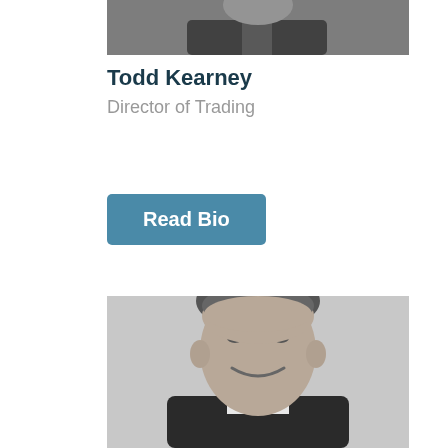[Figure (photo): Black and white portrait photo of Todd Kearney, partially cropped, showing upper body in suit]
Todd Kearney
Director of Trading
Read Bio
[Figure (photo): Black and white portrait photo of a smiling middle-aged man in a suit, looking directly at the camera]